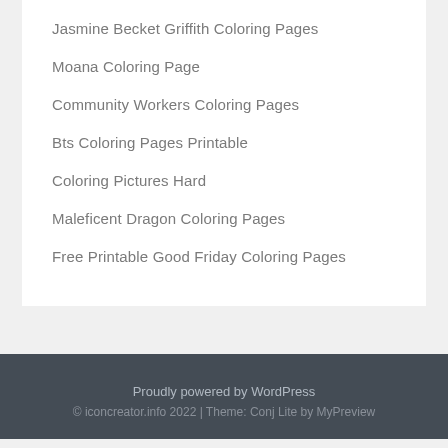Jasmine Becket Griffith Coloring Pages
Moana Coloring Page
Community Workers Coloring Pages
Bts Coloring Pages Printable
Coloring Pictures Hard
Maleficent Dragon Coloring Pages
Free Printable Good Friday Coloring Pages
Proudly powered by WordPress
© iconcreator.info 2022 | Theme: Conj Lite by MyPreview